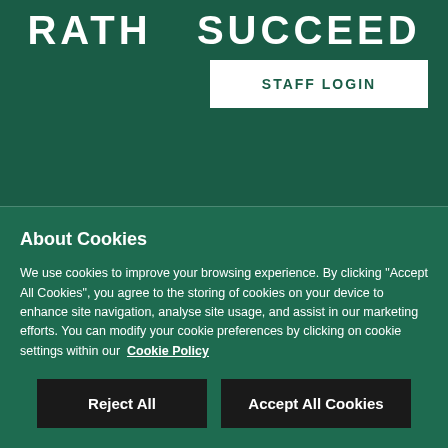RATH  SUCCEED
STAFF LOGIN
About Cookies
We use cookies to improve your browsing experience. By clicking “Accept All Cookies”, you agree to the storing of cookies on your device to enhance site navigation, analyse site usage, and assist in our marketing efforts. You can modify your cookie preferences by clicking on cookie settings within our  Cookie Policy
Reject All
Accept All Cookies